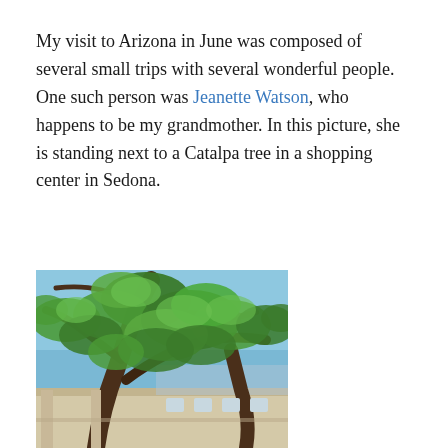My visit to Arizona in June was composed of several small trips with several wonderful people. One such person was Jeanette Watson, who happens to be my grandmother. In this picture, she is standing next to a Catalpa tree in a shopping center in Sedona.
[Figure (photo): Photograph of a Catalpa tree with lush green foliage against a blue sky, with a Southwestern-style building visible in the background. Taken at a shopping center in Sedona, Arizona.]